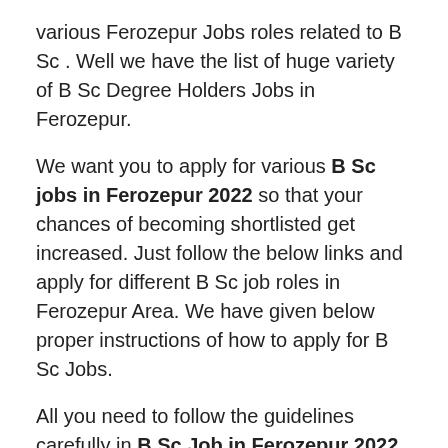various Ferozepur Jobs roles related to B Sc . Well we have the list of huge variety of B Sc Degree Holders Jobs in Ferozepur.
We want you to apply for various B Sc jobs in Ferozepur 2022 so that your chances of becoming shortlisted get increased. Just follow the below links and apply for different B Sc job roles in Ferozepur Area. We have given below proper instructions of how to apply for B Sc Jobs.
All you need to follow the guidelines carefully in B Sc Job in Ferozepur 2022 Page and upload your CV to different organizations in Ferozepur. Get latest B Sc Job news from here timely. Best wishes to all of you regarding more Ferozepur Jobs information.